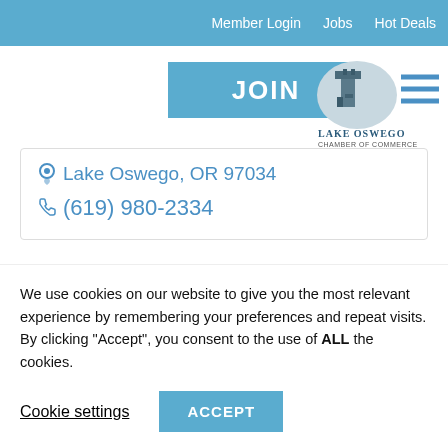Member Login   Jobs   Hot Deals
[Figure (illustration): JOIN button in blue/teal color]
[Figure (logo): Lake Oswego Chamber of Commerce logo with tower image and horizontal lines]
Lake Oswego, OR 97034
(619) 980-2334
We use cookies on our website to give you the most relevant experience by remembering your preferences and repeat visits. By clicking "Accept", you consent to the use of ALL the cookies.
Cookie settings
ACCEPT